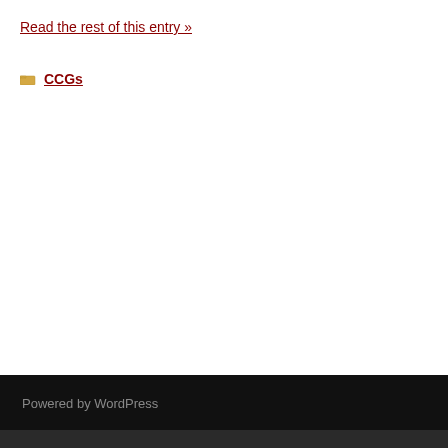Read the rest of this entry »
CCGs
Powered by WordPress